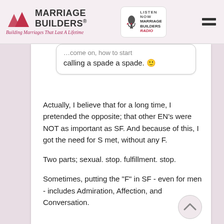Marriage Builders — Building Marriages That Last A Lifetime
calling a spade a spade. 🙂
Actually, I believe that for a long time, I pretended the opposite; that other EN's were NOT as important as SF. And because of this, I got the need for S met, without any F.
Two parts; sexual. stop. fulfillment. stop.
Sometimes, putting the "F" in SF - even for men - includes Admiration, Affection, and Conversation.